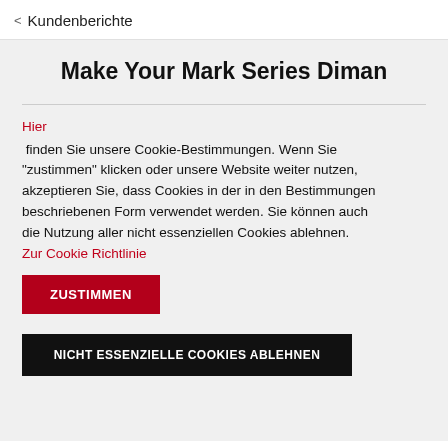< Kundenberichte
Make Your Mark Series Diman
Hier finden Sie unsere Cookie-Bestimmungen. Wenn Sie "zustimmen" klicken oder unsere Website weiter nutzen, akzeptieren Sie, dass Cookies in der in den Bestimmungen beschriebenen Form verwendet werden. Sie können auch die Nutzung aller nicht essenziellen Cookies ablehnen. Zur Cookie Richtlinie
ZUSTIMMEN
NICHT ESSENZIELLE COOKIES ABLEHNEN